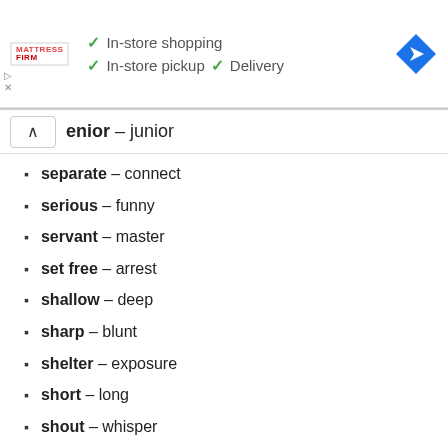[Figure (infographic): Mattress Firm advertisement banner with logo, checkmarks for In-store shopping, In-store pickup, Delivery, and a blue navigation icon]
senior – junior
separate – connect
serious – funny
servant – master
set free – arrest
shallow – deep
sharp – blunt
shelter – exposure
short – long
shout – whisper
shut – open
sick – healthy
silent – noisy